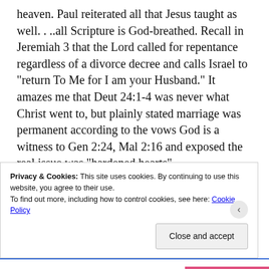heaven. Paul reiterated all that Jesus taught as well. . ..all Scripture is God-breathed. Recall in Jeremiah 3 that the Lord called for repentance regardless of a divorce decree and calls Israel to “return To Me for I am your Husband.” It amazes me that Deut 24:1-4 was never what Christ went to, but plainly stated marriage was permanent according to the vows God is a witness to Gen 2:24, Mal 2:16 and exposed the real issue was “hardened hearts”
Let us not be fooled any longer by the corrupt scheme of the devil and research
Privacy & Cookies: This site uses cookies. By continuing to use this website, you agree to their use.
To find out more, including how to control cookies, see here: Cookie Policy
Close and accept